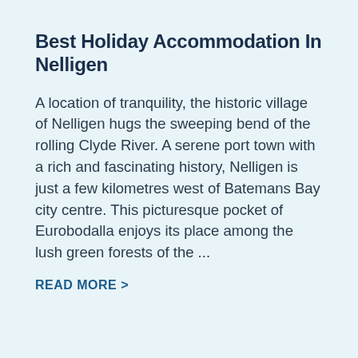Best Holiday Accommodation In Nelligen
A location of tranquility, the historic village of Nelligen hugs the sweeping bend of the rolling Clyde River. A serene port town with a rich and fascinating history, Nelligen is just a few kilometres west of Batemans Bay city centre. This picturesque pocket of Eurobodalla enjoys its place among the lush green forests of the ...
READ MORE >